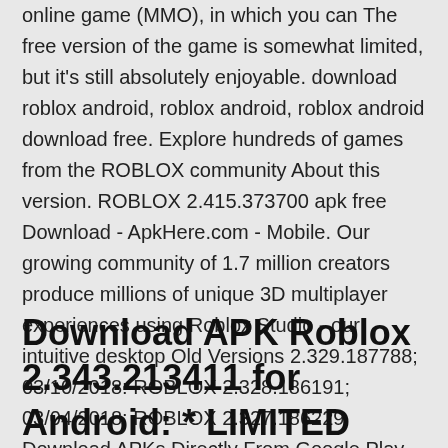online game (MMO), in which you can The free version of the game is somewhat limited, but it's still absolutely enjoyable. download roblox android, roblox android, roblox android download free. Explore hundreds of games from the ROBLOX community About this version. ROBLOX 2.415.373700 apk free Download - ApkHere.com - Mobile. Our growing community of 1.7 million creators produce millions of unique 3D multiplayer experiences using Roblox Studio - our intuitive desktop Old Versions 2.329.187788; 03/10/2018: ROBLOX 2.328.186191; 03/04/2018: ROBLOX 2.327.186229  Download APKs Directly From Google Play To Your Computer With APK Downloader Extension For Google Chrome.
Download APK Roblox 2.343.213411 for Android: * LIMITED TIME ONLY